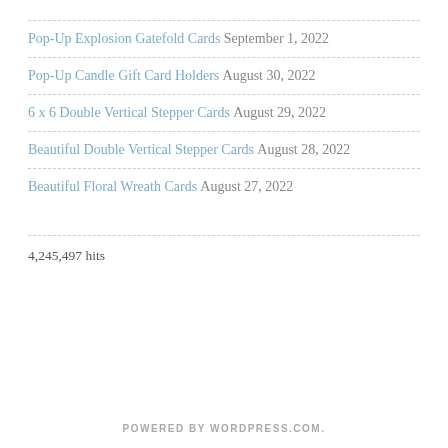Pop-Up Explosion Gatefold Cards September 1, 2022
Pop-Up Candle Gift Card Holders August 30, 2022
6 x 6 Double Vertical Stepper Cards August 29, 2022
Beautiful Double Vertical Stepper Cards August 28, 2022
Beautiful Floral Wreath Cards August 27, 2022
4,245,497 hits
POWERED BY WORDPRESS.COM.